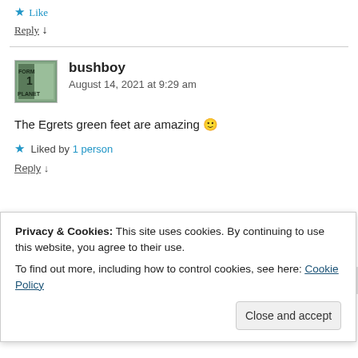★ Like
Reply ↓
bushboy — August 14, 2021 at 9:29 am
The Egrets green feet are amazing 🙂
★ Liked by 1 person
Reply ↓
Privacy & Cookies: This site uses cookies. By continuing to use this website, you agree to their use.
To find out more, including how to control cookies, see here: Cookie Policy